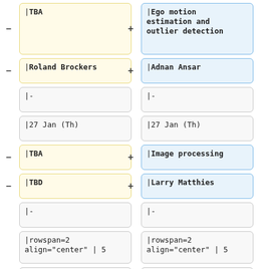| – |TBA | + |Ego motion estimation and outlier detection |
| – |Roland Brockers | + |Adnan Ansar |
| |- | |- |
| |27 Jan (Th) | |27 Jan (Th) |
| – |TBA | + |Image processing |
| – |TBD | + |Larry Matthies |
| |- | |- |
| |rowspan=2 align="center" | 5 | |rowspan=2 align="center" | 5 |
| |1 Feb (Tu) | |1 Feb (Tu) |
| – |TBA | + |Stereo vision |
| – |TBD | + |Roland Brockers |